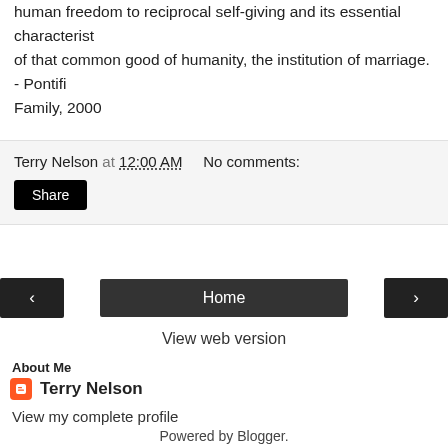human freedom to reciprocal self-giving and its essential characterist... of that common good of humanity, the institution of marriage. - Pontific... Family, 2000
Terry Nelson at 12:00 AM   No comments:
Share
‹
Home
›
View web version
About Me
Terry Nelson
View my complete profile
Powered by Blogger.